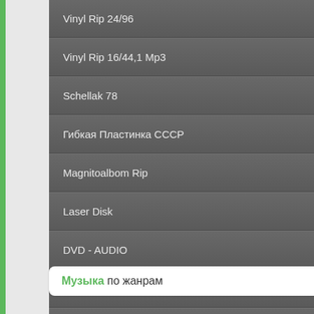Vinyl Rip 24/96
Vinyl Rip 16/44,1 Mp3
Schellak 78
Гибкая Пластинка СССР
Magnitoalbom Rip
Laser Disk
DVD - AUDIO
Джазовые Концерты
Информация - AUDIO
Музыка по жанрам